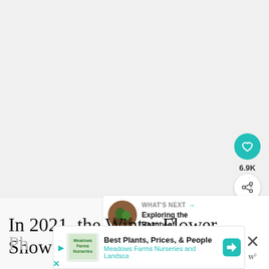[Figure (photo): Large blank/light gray image area — the main article photo is not visible (loading or hidden)]
6.9K
WHAT'S NEXT → Exploring the Beauty of...
In 2021, the Winter Flower Show at
[Figure (screenshot): Advertisement banner: Best Plants, Prices, & People — Meadows Farms Nurseries and Landscape, with teal play button, logo, navigation arrow icon, and close X button]
Best Plants, Prices, & People
Meadows Farms Nurseries and Landscа